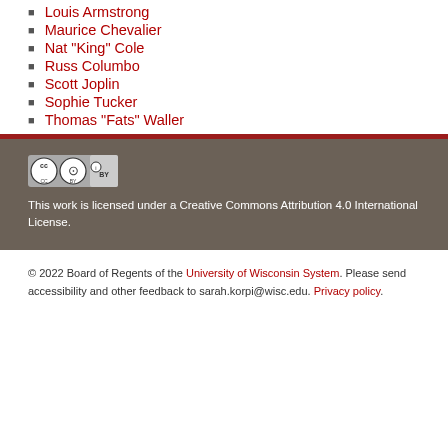Louis Armstrong
Maurice Chevalier
Nat "King" Cole
Russ Columbo
Scott Joplin
Sophie Tucker
Thomas "Fats" Waller
[Figure (logo): Creative Commons Attribution (CC BY) license badge]
This work is licensed under a Creative Commons Attribution 4.0 International License.
© 2022 Board of Regents of the University of Wisconsin System. Please send accessibility and other feedback to sarah.korpi@wisc.edu. Privacy policy.